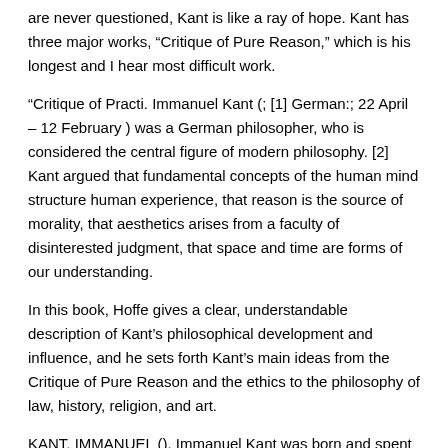are never questioned, Kant is like a ray of hope. Kant has three major works, “Critique of Pure Reason,” which is his longest and I hear most difficult work.
“Critique of Practi. Immanuel Kant (; [1] German:; 22 April – 12 February ) was a German philosopher, who is considered the central figure of modern philosophy. [2] Kant argued that fundamental concepts of the human mind structure human experience, that reason is the source of morality, that aesthetics arises from a faculty of disinterested judgment, that space and time are forms of our understanding.
In this book, Hoffe gives a clear, understandable description of Kant’s philosophical development and influence, and he sets forth Kant’s main ideas from the Critique of Pure Reason and the ethics to the philosophy of law, history, religion, and art.
KANT, IMMANUEL (). Immanuel Kant was born and spent his life in Königsberg, Prussia, now Kaliningrad, Russia.
Although his family was poor, Kant was educated in a good Pietist